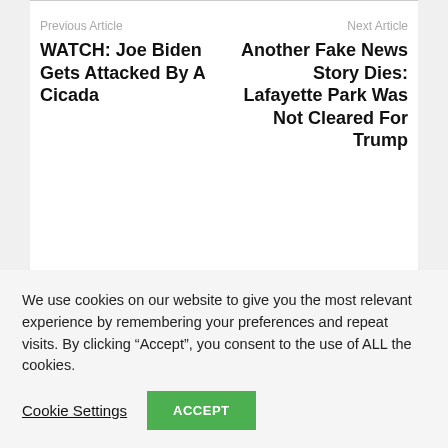Previous Article
WATCH: Joe Biden Gets Attacked By A Cicada
Next Article
Another Fake News Story Dies: Lafayette Park Was Not Cleared For Trump
RELATED ARTICLES
We use cookies on our website to give you the most relevant experience by remembering your preferences and repeat visits. By clicking “Accept”, you consent to the use of ALL the cookies.
Cookie Settings
ACCEPT